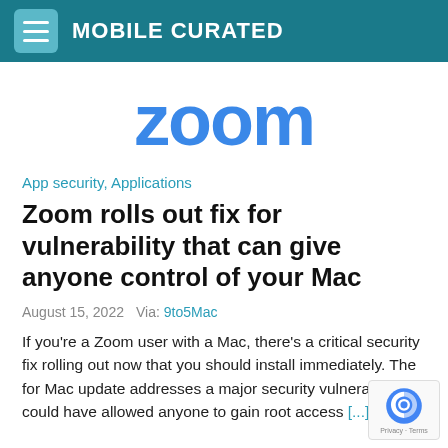MOBILE CURATED
[Figure (logo): Zoom logo in blue text on white background]
App security, Applications
Zoom rolls out fix for vulnerability that can give anyone control of your Mac
August 15, 2022   Via: 9to5Mac
If you're a Zoom user with a Mac, there's a critical security fix rolling out now that you should install immediately. The for Mac update addresses a major security vulnerability could have allowed anyone to gain root access [...]